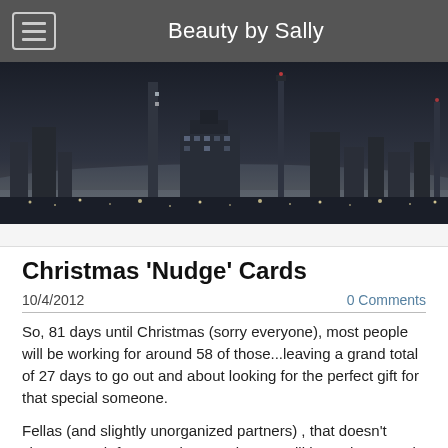Beauty by Sally
[Figure (photo): Black and white cityscape/skyline at night with tall towers and city lights]
Christmas 'Nudge' Cards
10/4/2012
0 Comments
So, 81 days until Christmas (sorry everyone), most people will be working for around 58 of those...leaving a grand total of 27 days to go out and about looking for the perfect gift for that special someone.
Fellas (and slightly unorganized partners) , that doesn't change much for you...don't panic, you still have the annual 'Christmas Eve dash' to panic buy your lovely other half something that will show that you care.